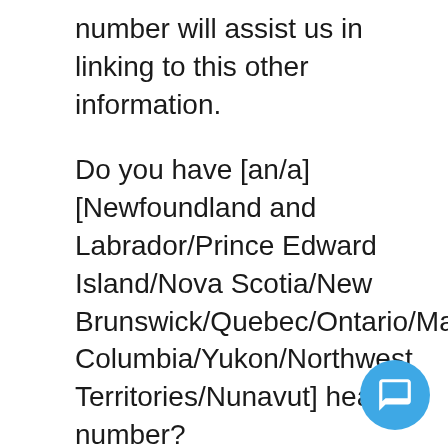number will assist us in linking to this other information.
Do you have [an/a] [Newfoundland and Labrador/Prince Edward Island/Nova Scotia/New Brunswick/Quebec/Ontario/Manitoba/Saskatchewan/Alberta/British Columbia/Yukon/Northwest Territories/Nunavut] health number?
1: Yes
2: No
8: RF
9: DK